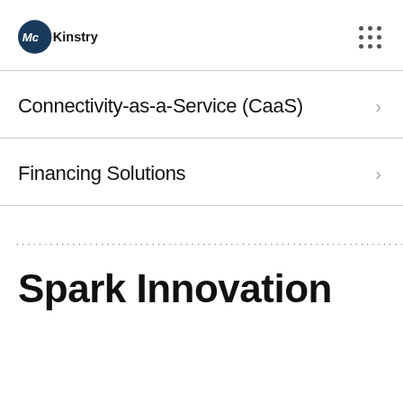[Figure (logo): McKinstry company logo — dark blue circle with white 'Mc' text and 'Kinstry' in dark text to the right]
Connectivity-as-a-Service (CaaS)
Financing Solutions
dotted divider row
Spark Innovation